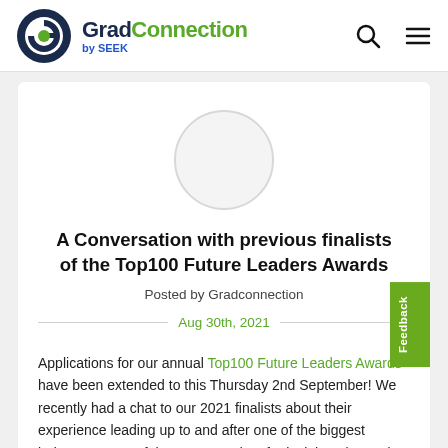GradConnection by SEEK
[Figure (illustration): Circular avatar placeholder image]
A Conversation with previous finalists of the Top100 Future Leaders Awards
Posted by Gradconnection
Aug 30th, 2021
Applications for our annual Top100 Future Leaders Awards have been extended to this Thursday 2nd September! We recently had a chat to our 2021 finalists about their experience leading up to and after one of the biggest industry events of the year. Read on for insights, tips and